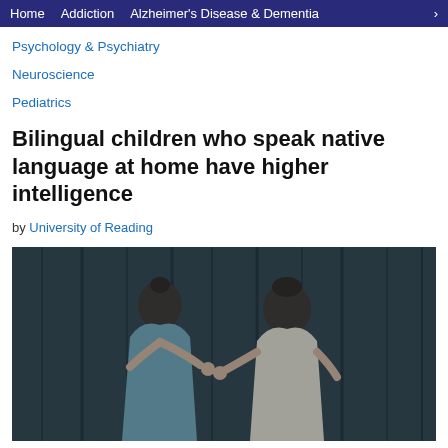Home  Addiction  Alzheimer's Disease & Dementia  >
Psychology & Psychiatry
Neuroscience
Pediatrics
Bilingual children who speak native language at home have higher intelligence
by University of Reading
[Figure (photo): Two young children holding hands in front of a dark wooden fence background. A girl in a light blue dress on the left and a boy in a white short-sleeve shirt on the right.]